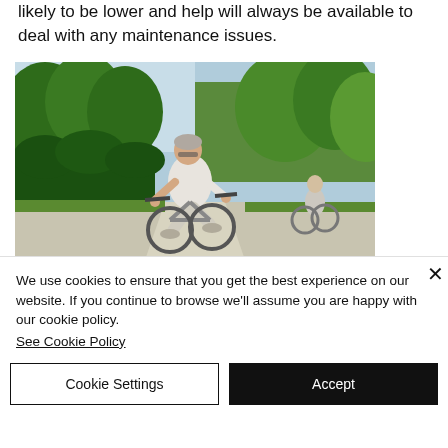likely to be lower and help will always be available to deal with any maintenance issues.
[Figure (photo): Two elderly people riding bicycles in a green park. An older man in a white shirt smiles in the foreground while an older woman follows behind on a path lined with lush green trees.]
We use cookies to ensure that you get the best experience on our website. If you continue to browse we'll assume you are happy with our cookie policy.
See Cookie Policy
Cookie Settings
Accept